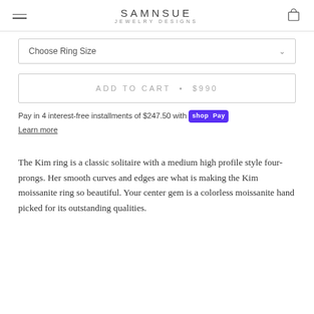SAMNSUE JEWELRY DESIGNS
Choose Ring Size
ADD TO CART  •  $990
Pay in 4 interest-free installments of $247.50 with Shop Pay
Learn more
The Kim ring is a classic solitaire with a medium high profile style four-prongs. Her smooth curves and edges are what is making the Kim moissanite ring so beautiful. Your center gem is a colorless moissanite hand picked for its outstanding qualities.